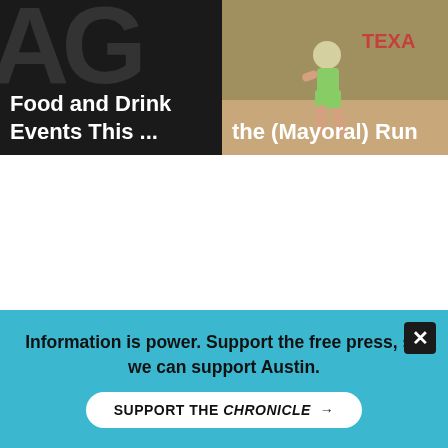[Figure (photo): Left thumbnail image with large 'AG' letters on dark background and white bold text reading 'Food and Drink Events This ...' overlaid at bottom]
[Figure (photo): Right thumbnail image showing a runner in sportswear on a sandy/dusty background with partial 'TEXA' text visible, white bold text reading 'the (Mayoral) Run' overlaid at bottom]
Information is power. Support the free press, so we can support Austin.
SUPPORT THE CHRONICLE →